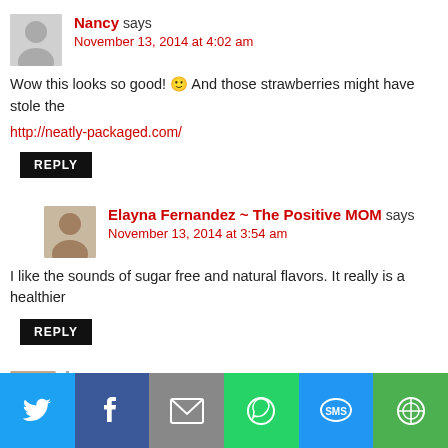Nancy says
November 13, 2014 at 4:02 am
Wow this looks so good! 🙂 And those strawberries might have stole the
http://neatly-packaged.com/
REPLY
Elayna Fernandez ~ The Positive MOM says
November 13, 2014 at 3:54 am
I like the sounds of sugar free and natural flavors. It really is a healthier
REPLY
aimeefauci@gmail.com says